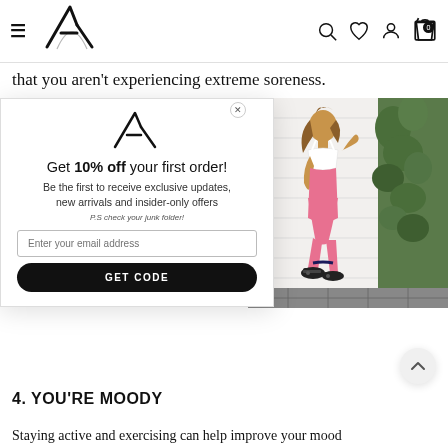Navigation bar with hamburger menu, logo, search, wishlist, account, and cart icons
that you aren't experiencing extreme soreness.
[Figure (screenshot): Popup modal with brand logo, discount offer '10% off your first order', email input and GET CODE button. Right side shows photo of a woman in pink workout leggings leaning against a white brick wall.]
4. YOU'RE MOODY
Staying active and exercising can help improve your mood and keep your energy going. But neglecting recovery results in the